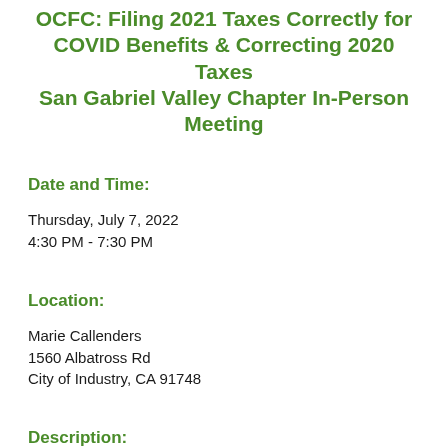OCFC: Filing 2021 Taxes Correctly for COVID Benefits & Correcting 2020 Taxes San Gabriel Valley Chapter In-Person Meeting
Date and Time:
Thursday, July 7, 2022
4:30 PM - 7:30 PM
Location:
Marie Callenders
1560 Albatross Rd
City of Industry, CA 91748
Description: